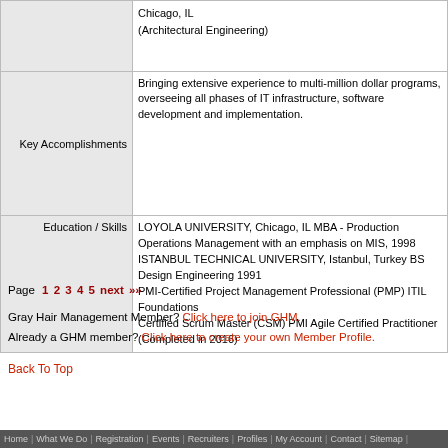|  |  |
| --- | --- |
|  | Chicago, IL
(Architectural Engineering) |
| Key Accomplishments | Bringing extensive experience to multi-million dollar programs, overseeing all phases of IT infrastructure, software development and implementation. |
| Education / Skills | LOYOLA UNIVERSITY, Chicago, IL MBA - Production Operations Management with an emphasis on MIS, 1998
ISTANBUL TECHNICAL UNIVERSITY, Istanbul, Turkey BS Design Engineering 1991
PMI-Certified Project Management Professional (PMP) ITIL Foundations
Certified Scrum Master (CSM) PMI Agile Certified Practitioner (Completed in 2016) |
Page  1 2 3 4 5 next »»
Gray Hair Management Member? Click here to join GHM.
Already a GHM member? Click here to create your own Member Profile.
Back To Top
Home | What We Do | Registration | Events | Recruiters | Profiles | My Account | Contact | Sitemap |